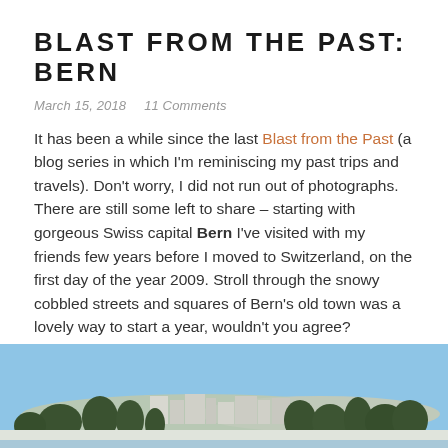BLAST FROM THE PAST: BERN
March 15, 2018    11 Comments
It has been a while since the last Blast from the Past (a blog series in which I'm reminiscing my past trips and travels). Don't worry, I did not run out of photographs. There are still some left to share – starting with gorgeous Swiss capital Bern I've visited with my friends few years before I moved to Switzerland, on the first day of the year 2009. Stroll through the snowy cobbled streets and squares of Bern's old town was a lovely way to start a year, wouldn't you agree?
[Figure (photo): Photograph of Bern cityscape with blue sky, trees and snow-covered ground in the background]